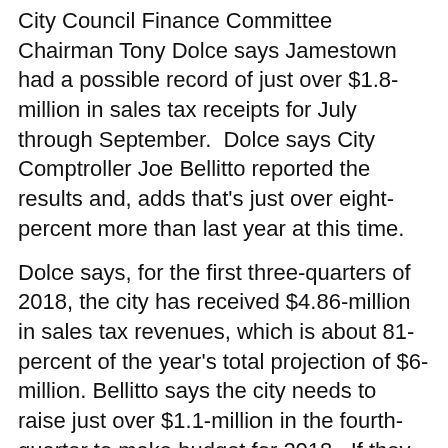City Council Finance Committee Chairman Tony Dolce says Jamestown had a possible record of just over $1.8-million in sales tax receipts for July through September. Dolce says City Comptroller Joe Bellitto reported the results and, adds that's just over eight-percent more than last year at this time.
Dolce says, for the first three-quarters of 2018, the city has received $4.86-million in sales tax revenues, which is about 81-percent of the year's total projection of $6-million. Bellitto says the city needs to raise just over $1.1-million in the fourth-quarter to make budget for 2018. If they bring in the amount raised last year... which was $1.52-million, it would bring the city to about $6.3-million. Bellitto is urging lawmakers to not budget any more than $6.2-million in 2019.
The Roman Catholic Diocese of Buffalo, New York, has added 36 names to its public list of priests with substantiated claims of sexual abuse of a child.